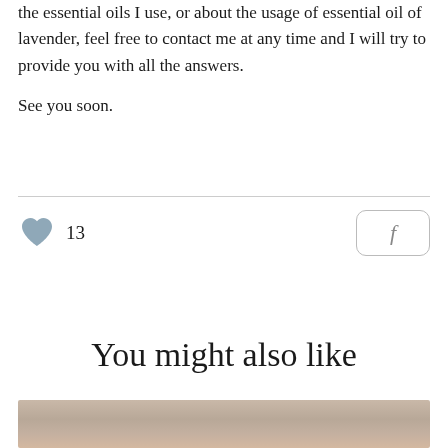the essential oils I use, or about the usage of essential oil of lavender, feel free to contact me at any time and I will try to provide you with all the answers.

See you soon.
[Figure (other): Heart like icon (steel blue/slate colored) with count 13, and a Facebook share button on the right]
You might also like
[Figure (photo): Partial photo at bottom of page, appears to show hands, muted warm tones]